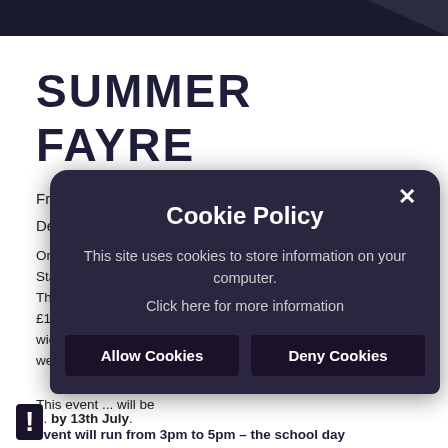SUMMER FAYRE
Friday 17th June 2022
Dear Parents/Carers,
Once again, I would like to say how grateful we are as Staff at ... fundraising events. The last ... raising over £1 ... pay for a wide ... ed in all we...
This event ... will be ... by 13th July. event will run from 3pm to 5pm – the school day
[Figure (screenshot): Cookie Policy popup overlay with dark purple background, title 'Cookie Policy', body text 'This site uses cookies to store information on your computer. Click here for more information', and two buttons: 'Allow Cookies' and 'Deny Cookies'. An X close button is in the top right of the popup.]